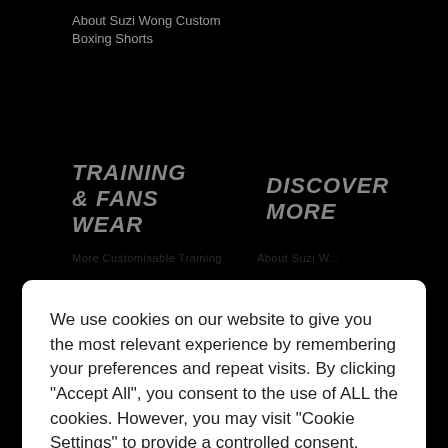About Suzi Wong Custom Boxing Shorts
TRAINING & FANS WEAR   DISCOVER MORE
We use cookies on our website to give you the most relevant experience by remembering your preferences and repeat visits. By clicking “Accept All”, you consent to the use of ALL the cookies. However, you may visit “Cookie Settings” to provide a controlled consent.
HELP
Basket
FAQ
[Figure (illustration): Chat/support icon — white speech bubble with smiley face on black background]